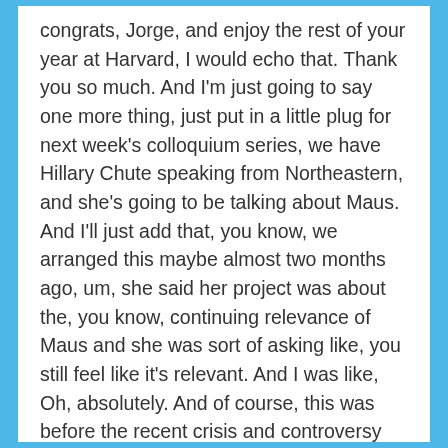congrats, Jorge, and enjoy the rest of your year at Harvard, I would echo that. Thank you so much. And I'm just going to say one more thing, just put in a little plug for next week's colloquium series, we have Hillary Chute speaking from Northeastern, and she's going to be talking about Maus. And I'll just add that, you know, we arranged this maybe almost two months ago, um, she said her project was about the, you know, continuing relevance of Maus and she was sort of asking like, you still feel like it's relevant. And I was like, Oh, absolutely. And of course, this was before the recent crisis and controversy around Maus in Tennessee, so it's a good it's going to be terrific, terrific talk. So I will see all the grad students there, and I hope to see many of our other attendees there as well. Thank you again,